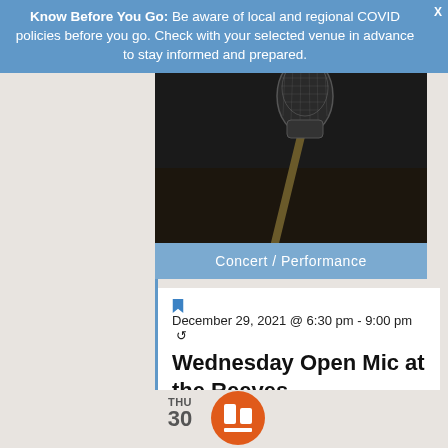Know Before You Go: Be aware of local and regional COVID policies before you go. Check with your selected venue in advance to stay informed and prepared.
[Figure (photo): Close-up photo of a microphone against a dark background]
Concert / Performance
December 29, 2021 @ 6:30 pm - 9:00 pm
Wednesday Open Mic at the Reeves
Reeves Theater 129 W Main Street, Elkin, NC
Free.
THU 30